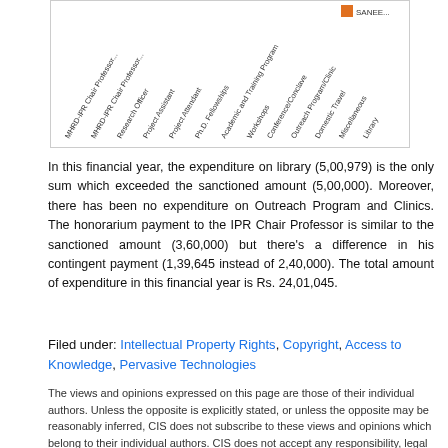[Figure (bar-chart): Partial bar chart showing expenditure categories with rotated x-axis labels including MHRD-IPR Chair Professor, Research Officer, Project Assistant, Project Attendant, Ph.D. Fellowships, Academic and Training Program, Workshops, Conference/Conclave, Outreach Program/Clinic, Domestic Travel, Miscellaneous, Library]
In this financial year, the expenditure on library (5,00,979) is the only sum which exceeded the sanctioned amount (5,00,000). Moreover, there has been no expenditure on Outreach Program and Clinics. The honorarium payment to the IPR Chair Professor is similar to the sanctioned amount (3,60,000) but there’s a difference in his contingent payment (1,39,645 instead of 2,40,000). The total amount of expenditure in this financial year is Rs. 24,01,045.
Filed under: Intellectual Property Rights, Copyright, Access to Knowledge, Pervasive Technologies
The views and opinions expressed on this page are those of their individual authors. Unless the opposite is explicitly stated, or unless the opposite may be reasonably inferred, CIS does not subscribe to these views and opinions which belong to their individual authors. CIS does not accept any responsibility, legal or otherwise, for the views and opinions of these individual authors. For an official